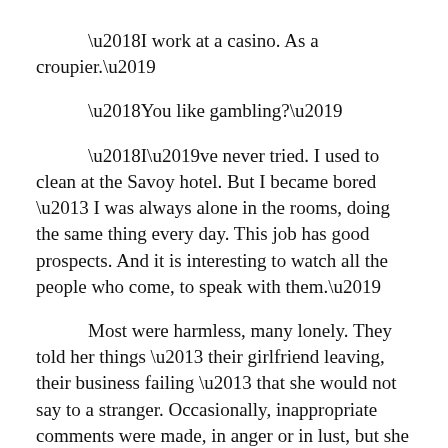‘I work at a casino. As a croupier.’
‘You like gambling?’
‘I’ve never tried. I used to clean at the Savoy hotel. But I became bored – I was always alone in the rooms, doing the same thing every day. This job has good prospects. And it is interesting to watch all the people who come, to speak with them.’
Most were harmless, many lonely. They told her things – their girlfriend leaving, their business failing – that she would not say to a stranger. Occasionally, inappropriate comments were made, in anger or in lust, but she had learnt the ‘kiss-up’ – making a kissing expression with her lips and placing her hand around her